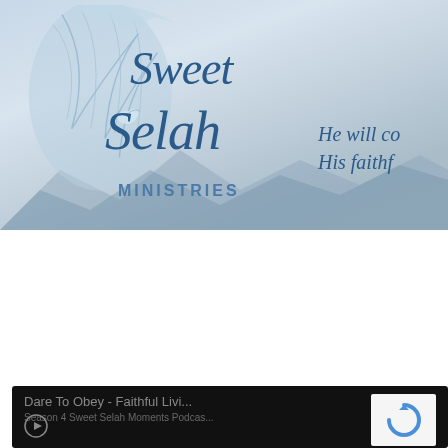[Figure (logo): Sweet Selah Ministries logo with feather/bird illustration and blue cursive text. Tagline partially visible: 'He will co... His faithf...']
Navigation
Dare To Obey - Faithful Living in a Fear-Filled World - Episode 63
[Figure (screenshot): Podcast player widget with dark background showing 'Dare To Obey - Faithful Livi...' title and 'Season 4 Sweet Selah Moments Podcas...' subtitle, with a reCAPTCHA widget in the bottom right corner.]